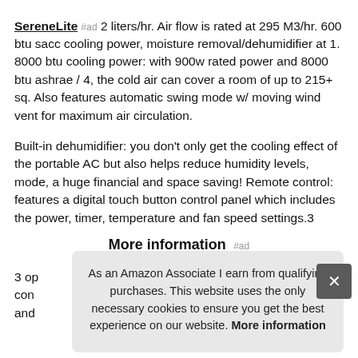SereneLite #ad 2 liters/hr. Air flow is rated at 295 M3/hr. 600 btu sacc cooling power, moisture removal/dehumidifier at 1. 8000 btu cooling power: with 900w rated power and 8000 btu ashrae / 4, the cold air can cover a room of up to 215+ sq. Also features automatic swing mode w/ moving wind vent for maximum air circulation.
Built-in dehumidifier: you don’t only get the cooling effect of the portable AC but also helps reduce humidity levels, mode, a huge financial and space saving! Remote control: features a digital touch button control panel which includes the power, timer, temperature and fan speed settings.3
More information #ad
3 op con and
As an Amazon Associate I earn from qualifying purchases. This website uses the only necessary cookies to ensure you get the best experience on our website. More information